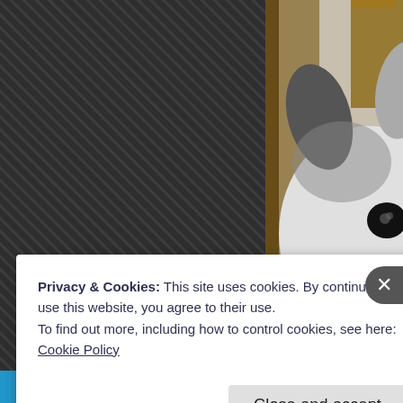[Figure (photo): A close-up photo of a white greyhound dog looking at the camera, with a dark collar, set against an indoor background with various framed signs and posters on the wall. Left portion of image is a dark diagonal-striped background.]
Privacy & Cookies: This site uses cookies. By continuing to use this website, you agree to their use.
To find out more, including how to control cookies, see here:
Cookie Policy